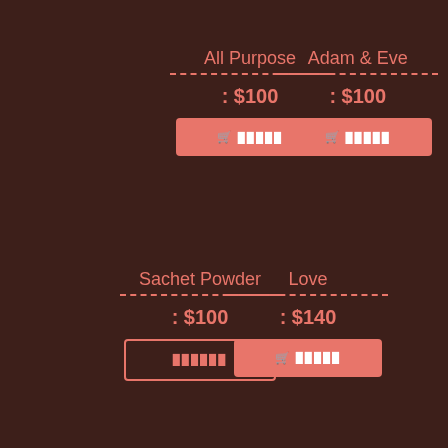All Purpose
: $100
[Figure (other): Add to cart button (filled red) for All Purpose]
Adam & Eve
: $100
[Figure (other): Add to cart button (filled red) for Adam & Eve]
Sachet Powder
: $100
[Figure (other): Add to cart button (outline) for Sachet Powder]
Love
: $140
[Figure (other): Add to cart button (filled red) for Love]